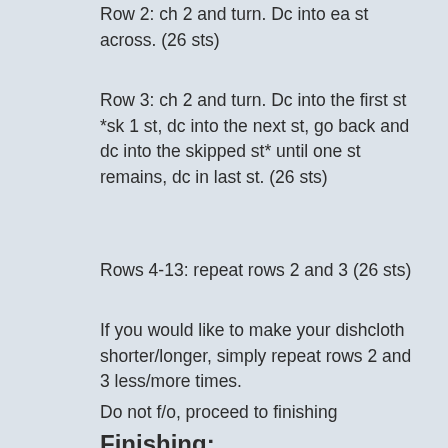Row 2: ch 2 and turn. Dc into ea st across. (26 sts)
Row 3: ch 2 and turn. Dc into the first st *sk 1 st, dc into the next st, go back and dc into the skipped st* until one st remains, dc in last st. (26 sts)
Rows 4-13: repeat rows 2 and 3 (26 sts)
If you would like to make your dishcloth shorter/longer, simply repeat rows 2 and 3 less/more times.
Do not f/o, proceed to finishing
Finishing:
Continuing from your last Row 3